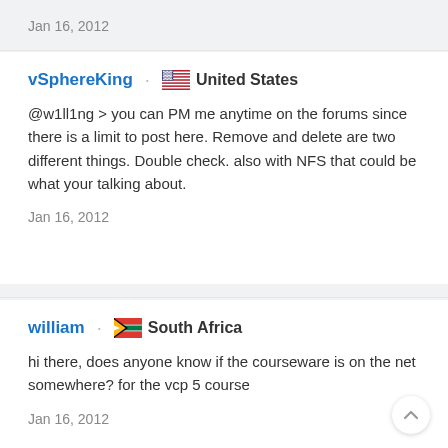Jan 16, 2012
vSphereKing · 🇺🇸 United States
@w1ll1ng > you can PM me anytime on the forums since there is a limit to post here. Remove and delete are two different things. Double check. also with NFS that could be what your talking about.
Jan 16, 2012
william · 🇿🇦 South Africa
hi there, does anyone know if the courseware is on the net somewhere? for the vcp 5 course
Jan 16, 2012